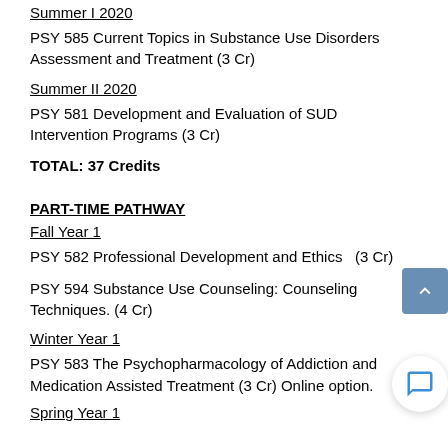Summer I 2020
PSY 585 Current Topics in Substance Use Disorders Assessment and Treatment (3 Cr)
Summer II 2020
PSY 581 Development and Evaluation of SUD Intervention Programs (3 Cr)
TOTAL: 37 Credits
PART-TIME PATHWAY
Fall Year 1
PSY 582 Professional Development and Ethics  (3 Cr)
PSY 594 Substance Use Counseling: Counseling Techniques. (4 Cr)
Winter Year 1
PSY 583 The Psychopharmacology of Addiction and Medication Assisted Treatment (3 Cr) Online option.
Spring Year 1